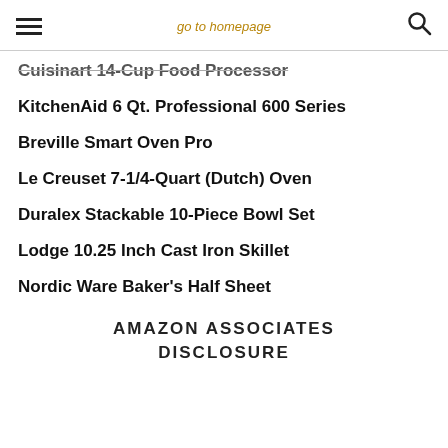go to homepage
Cuisinart 14-Cup Food Processor
KitchenAid 6 Qt. Professional 600 Series
Breville Smart Oven Pro
Le Creuset 7-1/4-Quart (Dutch) Oven
Duralex Stackable 10-Piece Bowl Set
Lodge 10.25 Inch Cast Iron Skillet
Nordic Ware Baker's Half Sheet
AMAZON ASSOCIATES DISCLOSURE